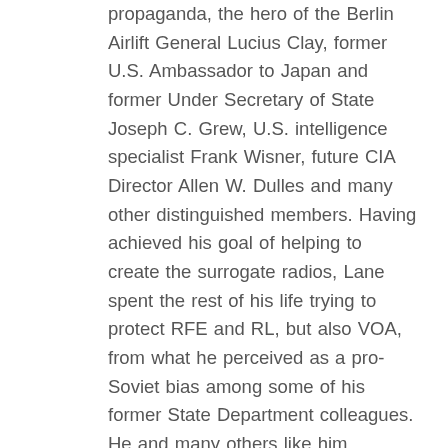Eisenhower's adviser on countering Soviet propaganda, the hero of the Berlin Airlift General Lucius Clay, former U.S. Ambassador to Japan and former Under Secretary of State Joseph C. Grew, U.S. intelligence specialist Frank Wisner, future CIA Director Allen W. Dulles and many other distinguished members. Having achieved his goal of helping to create the surrogate radios, Lane spent the rest of his life trying to protect RFE and RL, but also VOA, from what he perceived as a pro-Soviet bias among some of his former State Department colleagues. He and many others like him became convinced that the U.S. military and intelligence communities had people who were professionally better suited to manage foreign language broadcasting as a strategic weapon against communist expansion and as a Trojan horse against the Soviet Union.